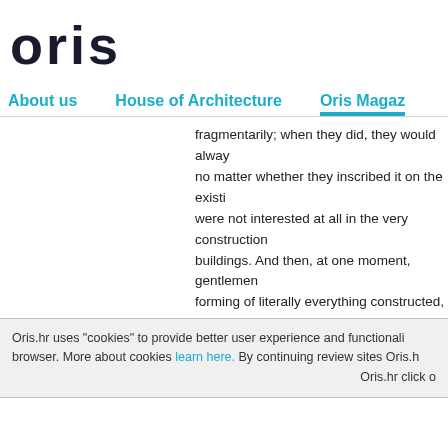oris
About us   House of Architecture   Oris Magaz...
fragmentarily; when they did, they would alway... no matter whether they inscribed it on the existi... were not interested at all in the very construction... buildings. And then, at one moment, gentlemen... forming of literally everything constructed, simp... developing in such a direction. Also, architects w... citizens with political legitimacy and/or financial p... for it. The architectural profession became the ru... cities and at least in the progressive (and until re... share their destiny, the rise of architecture mean...
Oris.hr uses "cookies" to provide better user experience and functionali... browser. More about cookies learn here. By continuing review sites Oris.h... Oris.hr click o...